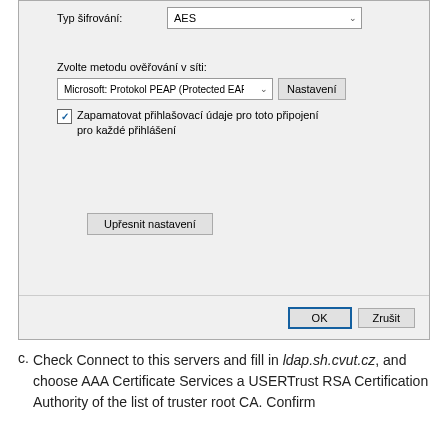[Figure (screenshot): Windows network dialog screenshot showing: Typ šifrování dropdown set to AES, Zvolte metodu ověřování v síti label, Microsoft: Protokol PEAP (Protected EAP) dropdown with Nastavení button, checkbox checked for Zapamatovat přihlašovací údaje pro toto připojení pro každé přihlášení, Upřesnit nastavení button, and OK / Zrušit buttons at the bottom.]
c. Check Connect to this servers and fill in ldap.sh.cvut.cz, and choose AAA Certificate Services a USERTrust RSA Certification Authority of the list of truster root CA. Confirm